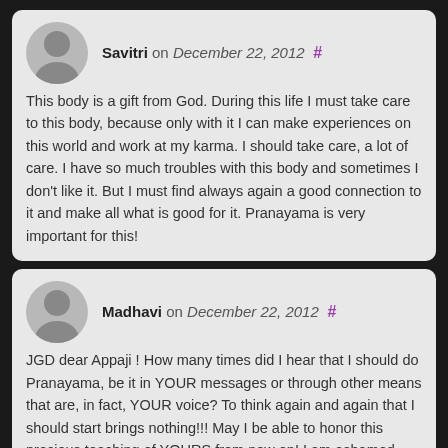Savitri on December 22, 2012 #
This body is a gift from God. During this life I must take care to this body, because only with it I can make experiences on this world and work at my karma. I should take care, a lot of care. I have so much troubles with this body and sometimes I don't like it. But I must find always again a good connection to it and make all what is good for it. Pranayama is very important for this!
Madhavi on December 22, 2012 #
JGD dear Appaji ! How many times did I hear that I should do Pranayama, be it in YOUR messages or through other means that are, in fact, YOUR voice? To think again and again that I should start brings nothing!!! May I be able to honor this precious teaching of YOURS from now on! I am ashamed because I feel so much like giving the promise of doing Pranayama dayly, but I am afraid that I will not be able to hold it. At present I give a short prayer to be able to sit to...